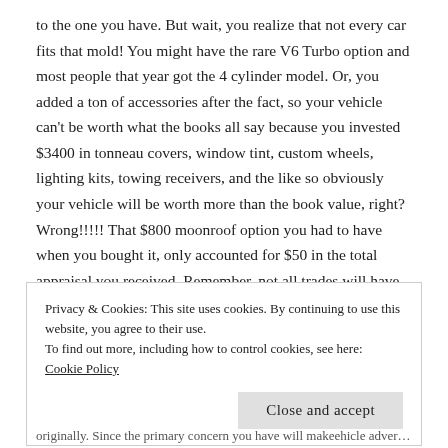to the one you have. But wait, you realize that not every car fits that mold! You might have the rare V6 Turbo option and most people that year got the 4 cylinder model. Or, you added a ton of accessories after the fact, so your vehicle can't be worth what the books all say because you invested $3400 in tonneau covers, window tint, custom wheels, lighting kits, towing receivers, and the like so obviously your vehicle will be worth more than the book value, right? Wrong!!!!! That $800 moonroof option you had to have when you bought it, only accounted for $50 in the total appraisal you received. Remember, not all trades will have the same mileage or physical condition.
Privacy & Cookies: This site uses cookies. By continuing to use this website, you agree to their use.
To find out more, including how to control cookies, see here: Cookie Policy
Close and accept
originally. Since the primary concern you have will makeehicle adversi…